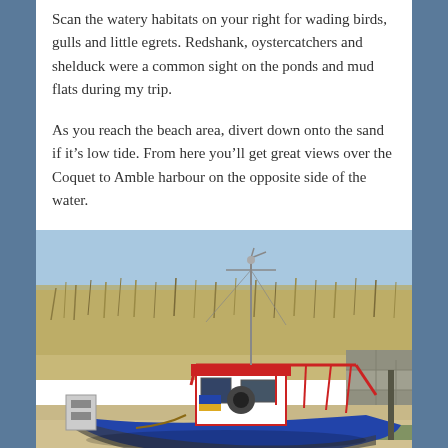Scan the watery habitats on your right for wading birds, gulls and little egrets. Redshank, oystercatchers and shelduck were a common sight on the ponds and mud flats during my trip.
As you reach the beach area, divert down onto the sand if it's low tide. From here you'll get great views over the Coquet to Amble harbour on the opposite side of the water.
[Figure (photo): A small fishing boat with a blue hull, white and red cabin, and red railings, beached on sand near a stone harbour wall with grassy sand dunes in the background and a clear blue sky.]